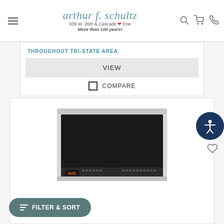arthur f. schultz — 939 W. 26th & Cascade ❤ Erie — More than 100 years!
THROUGHOUT TRI-STATE AREA
VIEW
COMPARE
[Figure (photo): Over-the-range microwave oven, stainless steel, shown from front angle with black display panel and control buttons]
FILTER & SORT